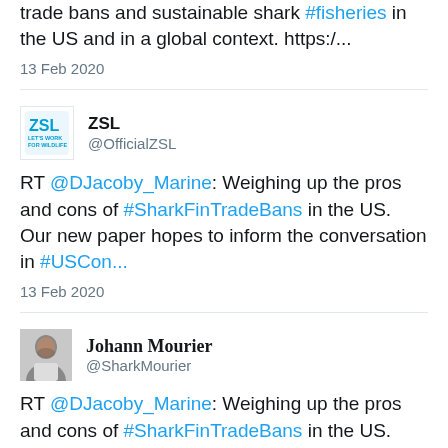trade bans and sustainable shark #fisheries in the US and in a global context. https:/...
13 Feb 2020
ZSL @OfficialZSL
RT @DJacoby_Marine: Weighing up the pros and cons of #SharkFinTradeBans in the US. Our new paper hopes to inform the conversation in #USCon...
13 Feb 2020
Johann Mourier @SharkMourier
RT @DJacoby_Marine: Weighing up the pros and cons of #SharkFinTradeBans in the US. Our new